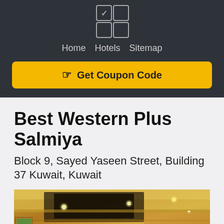[Figure (other): Dark header bar with a 2x2 icon grid (checkmark and squares), navigation links (Home, Hotels, Sitemap), and a yellow Get Coupon Code button]
Best Western Plus Salmiya
Block 9, Sayed Yaseen Street, Building 37 Kuwait, Kuwait
[Figure (photo): Interior photo of a hotel lobby showing a multi-story atrium with warm golden lighting, recessed ceiling lights, artwork on walls, and decorative plants]